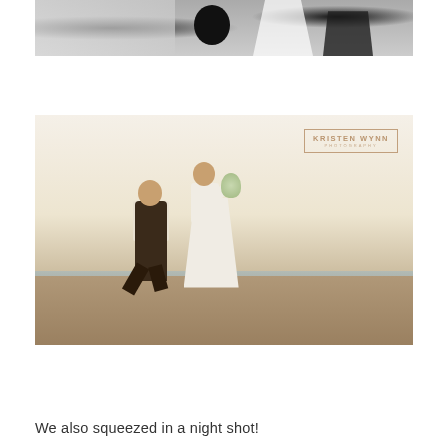[Figure (photo): Black and white photograph of a wedding reception interior, showing a large round dark object in center, tables with white linens in background, and figures in wedding attire on the right side including a white dress and dark suit.]
[Figure (photo): Color photograph of a bride and groom jumping joyfully on a beach at sunset/dusk. The groom wears dark vest and trousers, the bride wears a white strapless gown and holds a bouquet aloft. A 'Kristen Wynn Photography' watermark appears in upper right corner.]
We also squeezed in a night shot!